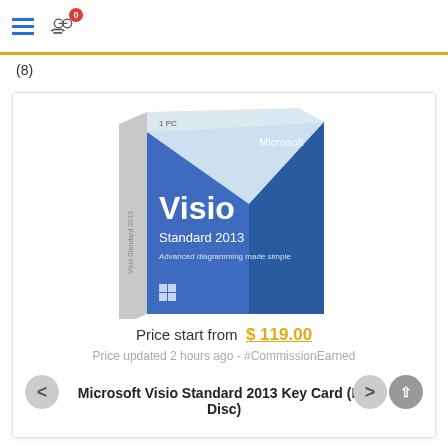Navigation header with hamburger menu and compare icon (0)
(8)
[Figure (photo): Microsoft Visio Standard 2013 product box. Blue box with white 'Visio' branding and 'Standard 2013' subtitle. Microsoft logo at top right. '1 PC' label on top left.]
Price start from $ 119.00
Price updated 2 hours ago - #CommissionEarned
Microsoft Visio Standard 2013 Key Card (No Disc)